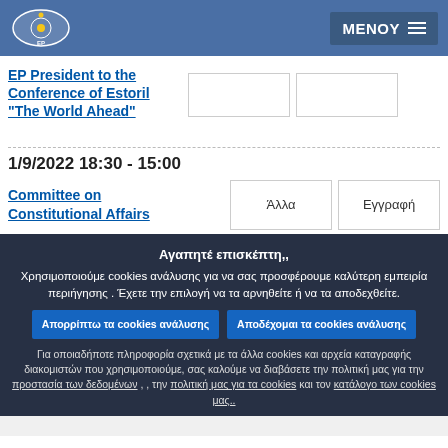MENOY
EP President to the Conference of Estoril "The World Ahead"
1/9/2022 18:30 - 15:00
Committee on Constitutional Affairs
Αλλα   Εγγραφή
Αγαπητέ επισκέπτη,,
Χρησιμοποιούμε cookies ανάλυσης για να σας προσφέρουμε καλύτερη εμπειρία περιήγησης . Έχετε την επιλογή να τα αρνηθείτε ή να τα αποδεχθείτε.
Απορρίπτω τα cookies ανάλυσης   Αποδέχομαι τα cookies ανάλυσης
Για οποιαδήποτε πληροφορία σχετικά με τα άλλα cookies και αρχεία καταγραφής διακομιστών που χρησιμοποιούμε, σας καλούμε να διαβάσετε την πολιτική μας για την προστασία των δεδομένων , , την πολιτική μας για τα cookies και τον κατάλογο των cookies μας..